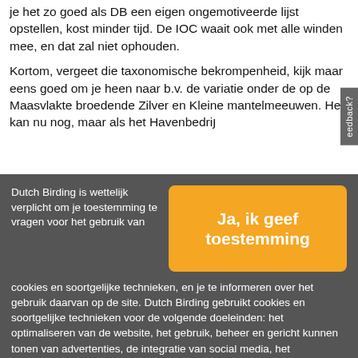je het zo goed als DB een eigen ongemotiveerde lijst opstellen, kost minder tijd. De IOC waait ook met alle winden mee, en dat zal niet ophouden.
Kortom, vergeet die taxonomische bekrompenheid, kijk maar eens goed om je heen naar b.v. de variatie onder de op de Maasvlakte broedende Zilver en Kleine mantelmeeuwen. Het kan nu nog, maar als het Havenbedri…
Dutch Birding is wettelijk verplicht om je toestemming te vragen voor het gebruik van cookies en soortgelijke technieken, en je te informeren over het gebruik daarvan op de site. Dutch Birding gebruikt cookies en soortgelijke technieken voor de volgende doeleinden: het optimaliseren van de website, het gebruik, beheer en gericht kunnen tonen van advertenties, de integratie van social media, het verzamelen en analyseren van statistieken.
Voor een aantal van bovenstaande punten is het vastleggen van bezoekersgedrag noodzakelijk. Ook derde partijen kunnen deze cookies plaatsen, zoals bijvoorbeeld het geval is bij embedded video's van YouTube.